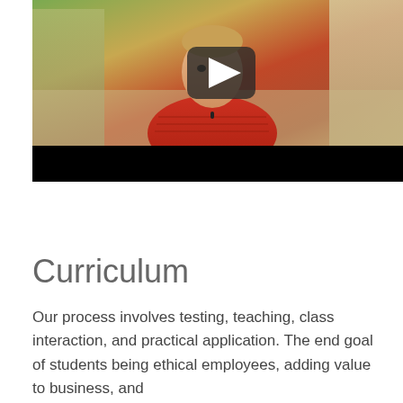[Figure (screenshot): A video thumbnail showing a young man in a red polo shirt seated outdoors near a building, with a play button overlay in the center. The bottom portion of the video has a black bar.]
Curriculum
Our process involves testing, teaching, class interaction, and practical application. The end goal of students being ethical employees, adding value to business, and